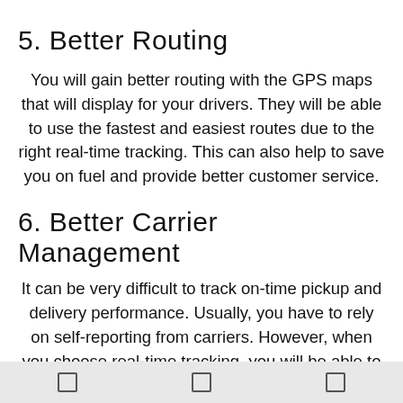5. Better Routing
You will gain better routing with the GPS maps that will display for your drivers. They will be able to use the fastest and easiest routes due to the right real-time tracking. This can also help to save you on fuel and provide better customer service.
6. Better Carrier Management
It can be very difficult to track on-time pickup and delivery performance. Usually, you have to rely on self-reporting from carriers. However, when you choose real-time tracking, you will be able to see when the freight arrives at the facility. This type of
[ ] [ ] [ ]